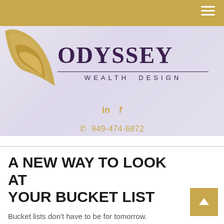[Figure (logo): Odyssey Wealth Design logo with gold swoosh icon and purple serif text]
in  f
☎ 949-474-6872
A NEW WAY TO LOOK AT YOUR BUCKET LIST
Bucket lists don't have to be for tomorrow.